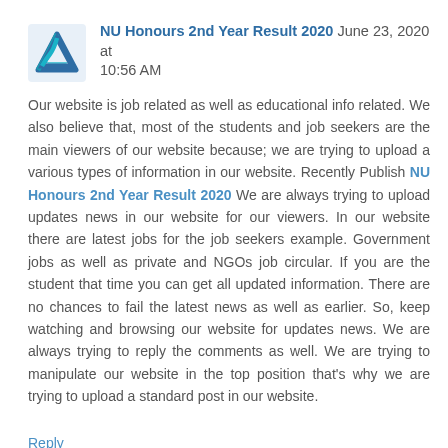NU Honours 2nd Year Result 2020  June 23, 2020 at 10:56 AM
Our website is job related as well as educational info related. We also believe that, most of the students and job seekers are the main viewers of our website because; we are trying to upload a various types of information in our website. Recently Publish NU Honours 2nd Year Result 2020 We are always trying to upload updates news in our website for our viewers. In our website there are latest jobs for the job seekers example. Government jobs as well as private and NGOs job circular. If you are the student that time you can get all updated information. There are no chances to fail the latest news as well as earlier. So, keep watching and browsing our website for updates news. We are always trying to reply the comments as well. We are trying to manipulate our website in the top position that's why we are trying to upload a standard post in our website.
Reply